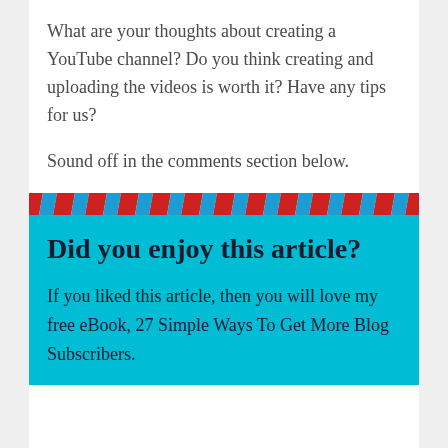What are your thoughts about creating a YouTube channel? Do you think creating and uploading the videos is worth it? Have any tips for us?
Sound off in the comments section below.
Did you enjoy this article?
If you liked this article, then you will love my free eBook, 27 Simple Ways To Get More Blog Subscribers.